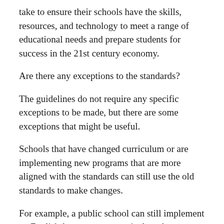take to ensure their schools have the skills, resources, and technology to meet a range of educational needs and prepare students for success in the 21st century economy.
Are there any exceptions to the standards?
The guidelines do not require any specific exceptions to be made, but there are some exceptions that might be useful.
Schools that have changed curriculum or are implementing new programs that are more aligned with the standards can still use the old standards to make changes.
For example, a public school can still implement an English-language arts curriculum that was used by the public school district before the new standards